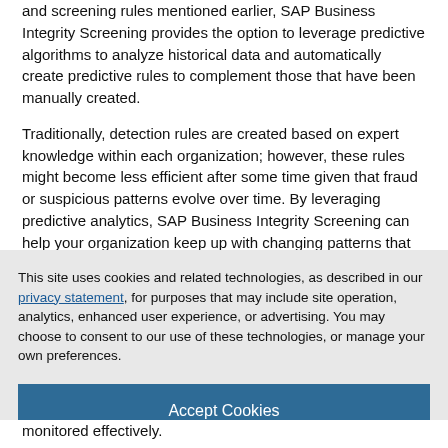and screening rules mentioned earlier, SAP Business Integrity Screening provides the option to leverage predictive algorithms to analyze historical data and automatically create predictive rules to complement those that have been manually created.
Traditionally, detection rules are created based on expert knowledge within each organization; however, these rules might become less efficient after some time given that fraud or suspicious patterns evolve over time. By leveraging predictive analytics, SAP Business Integrity Screening can help your organization keep up with changing patterns that the traditional
This site uses cookies and related technologies, as described in our privacy statement, for purposes that may include site operation, analytics, enhanced user experience, or advertising. You may choose to consent to our use of these technologies, or manage your own preferences.
Accept Cookies
More Information
Privacy Policy | Powered by: TrustArc
monitored effectively.